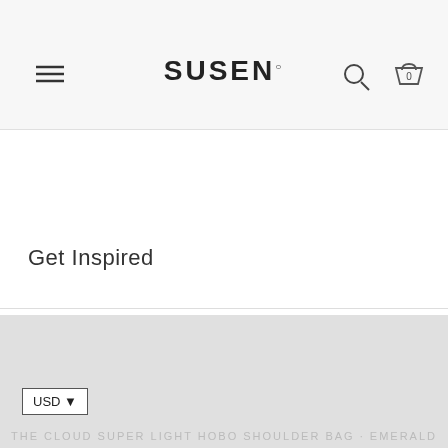Get 25% OFF
SUSEN
Get Inspired
[Figure (screenshot): Gray placeholder image area for product carousel]
USD
THE CLOUD SUPER LIGHT HOBO SHOULDER BAG - EMERALD